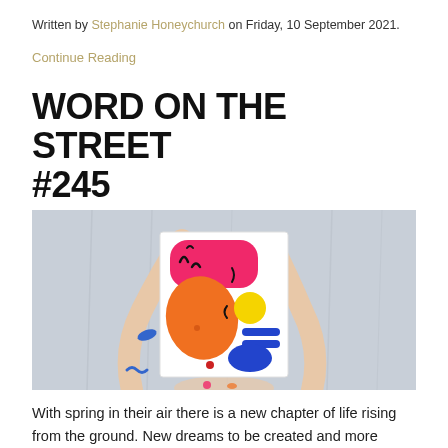Written by Stephanie Honeychurch on Friday, 10 September 2021.
Continue Reading
WORD ON THE STREET #245
Dream. Create. Do.
[Figure (photo): A person holding up a white canvas or board printed with colorful abstract shapes — a pink rounded rectangle, an orange organic shape, a yellow circle, blue horizontal bars, and a blue bowl shape — with black squiggly line accents. The person has paint splatters on their arms and body and stands in front of a light grey draped fabric background.]
With spring in their air there is a new chapter of life rising from the ground. New dreams to be created and more